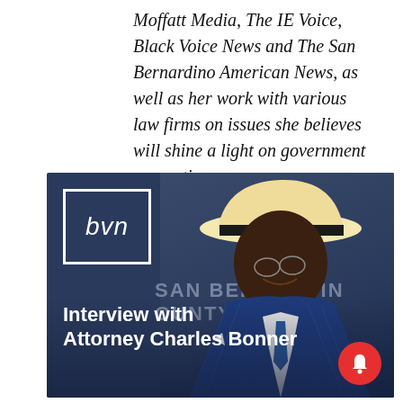Moffatt Media, The IE Voice, Black Voice News and The San Bernardino American News, as well as her work with various law firms on issues she believes will shine a light on government corruption.
[Figure (photo): BVN (Black Voice News) branded interview graphic showing a smiling man in a blue pinstripe suit and white hat, with text overlay reading 'Interview with Attorney Charles Bonner'. A BVN logo box is in the upper left, 'SAN BERNARDINO COUNTY' watermark text appears in the background, and a red notification bell icon is in the lower right corner.]